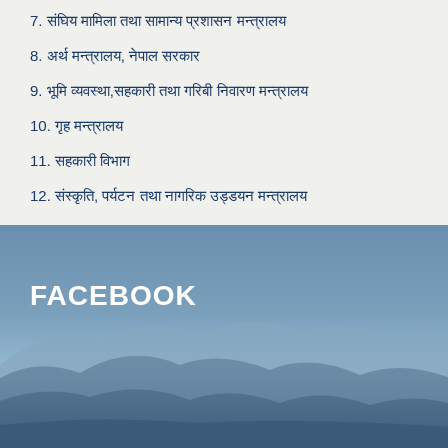7. संघिय मामिला तथा सामान्य प्रशासन मन्त्रालय
8. अर्थ मन्त्रालय, नेपाल सरकार
9. भूमि व्यवस्था,सहकारी तथा गरिबी निवारण मन्त्रालय
10. गृह मन्त्रालय
11. सहकारी विभाग
12. संस्कृति, पर्यटन तथा नागरिक उड्डयन मन्त्रालय
[Figure (photo): Mountain landscape photo with blue sky and mountain silhouettes used as background for a Facebook section label]